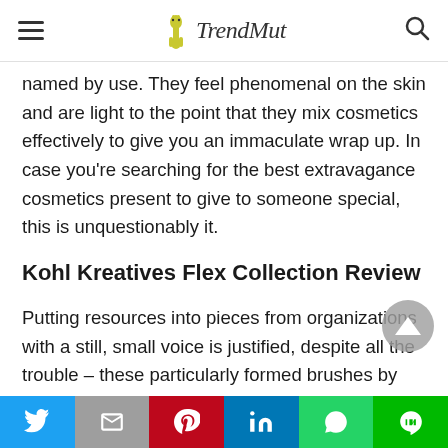TrendMut (navigation bar with hamburger menu and search icon)
named by use. They feel phenomenal on the skin and are light to the point that they mix cosmetics effectively to give you an immaculate wrap up. In case you’re searching for the best extravagance cosmetics present to give to someone special, this is unquestionably it.
Kohl Kreatives Flex Collection Review
Putting resources into pieces from organizations with a still, small voice is justified, despite all the trouble – these particularly formed brushes by Kohl
Share buttons: Twitter, Gmail, Pinterest, LinkedIn, WhatsApp, LINE